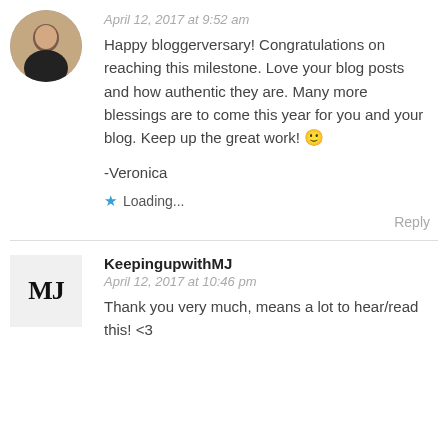[Figure (photo): Circular avatar photo of a person with dark hair]
April 12, 2017 at 9:52 am
Happy bloggerversary! Congratulations on reaching this milestone. Love your blog posts and how authentic they are. Many more blessings are to come this year for you and your blog. Keep up the great work! 🙂
-Veronica
★ Loading...
Reply
[Figure (logo): MJ monogram avatar in bold serif font]
KeepingupwithMJ
April 12, 2017 at 10:46 pm
Thank you very much, means a lot to hear/read this! <3